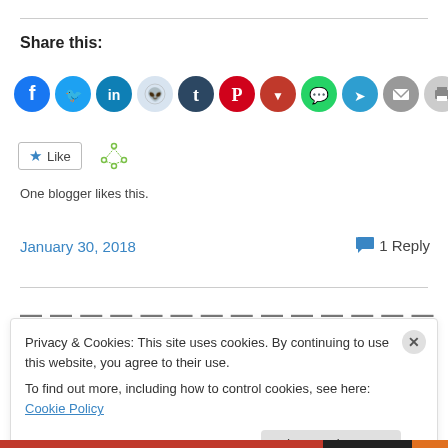Share this:
[Figure (infographic): Row of social media share icon circles: Facebook (blue), Twitter (cyan), LinkedIn (dark cyan), Reddit (light gray/blue), Tumblr (dark navy), Pinterest (red), Pocket (dark red), WhatsApp (green), Telegram (blue), Email (gray), Print (light gray)]
[Figure (infographic): Like button with star icon and a network/graph icon beside it]
One blogger likes this.
January 30, 2018
1 Reply
Privacy & Cookies: This site uses cookies. By continuing to use this website, you agree to their use.
To find out more, including how to control cookies, see here: Cookie Policy
Close and accept